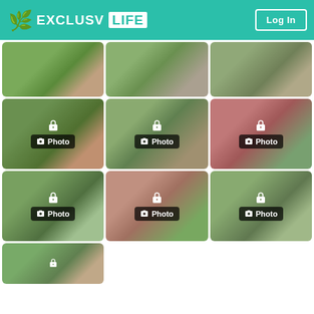EXCLUSV LIFE — Log In
[Figure (screenshot): A 3-column photo grid from the ExclusvLife website. The header shows the ExclusvLife logo with crown icon on a teal background and a 'Log In' button. Below are 10 locked/blurred photo tiles, each showing a lock icon and a camera 'Photo' badge, arranged in a 3×3 grid plus one additional cell at the bottom left.]